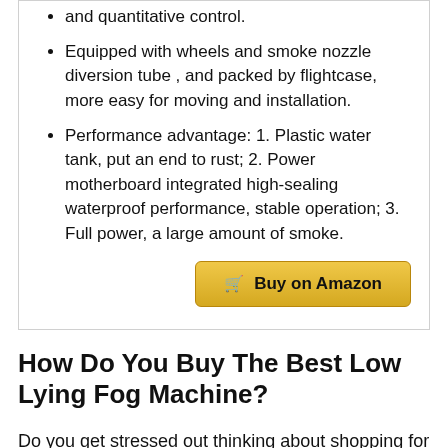and quantitative control.
Equipped with wheels and smoke nozzle diversion tube , and packed by flightcase, more easy for moving and installation.
Performance advantage: 1. Plastic water tank, put an end to rust; 2. Power motherboard integrated high-sealing waterproof performance, stable operation; 3. Full power, a large amount of smoke.
Buy on Amazon
How Do You Buy The Best Low Lying Fog Machine?
Do you get stressed out thinking about shopping for a great Low Lying Fog Machine? Do